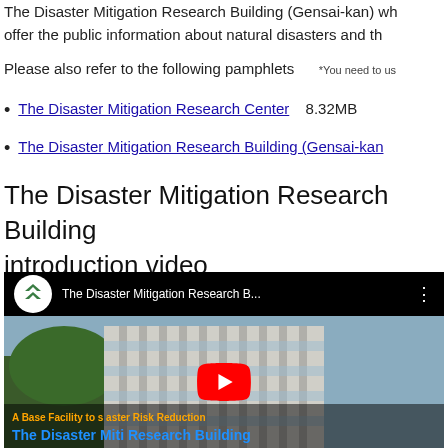The Disaster Mitigation Research Building (Gensai-kan) wh offer the public information about natural disasters and th
Please also refer to the following pamphlets    *You need to us
The Disaster Mitigation Research Center    8.32MB
The Disaster Mitigation Research Building (Gensai-kan
The Disaster Mitigation Research Building introduction video
[Figure (screenshot): YouTube video thumbnail showing The Disaster Mitigation Research Building (Gensai-kan) with a play button overlay, orange subtitle text 'A Base Facility to s... aster Risk Reduction' and blue bold title 'The Disaster Miti... Research Building'. Video bar at top shows the NIED logo (double chevron arrow in green on white circle) and title 'The Disaster Mitigation Research B...' with three-dot menu.]